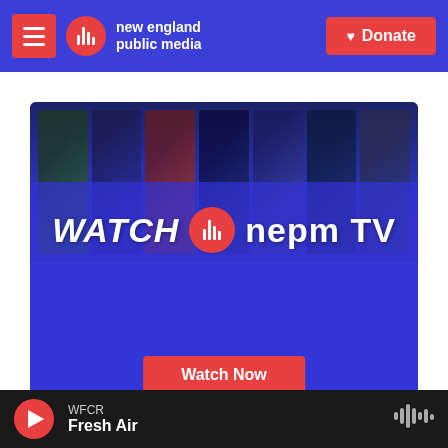new england public media | Donate
[Figure (screenshot): WATCH nepm TV hero banner with TV collage background and blue overlay, showing 'WATCH nepm TV' text and a 'Watch Now' button]
WFCR
Fresh Air